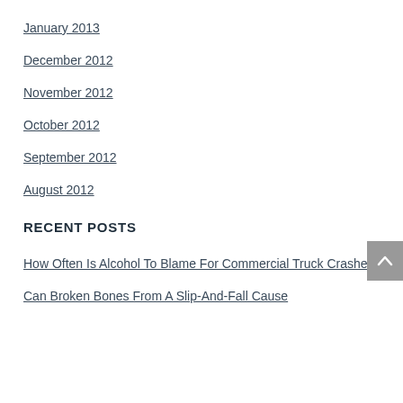January 2013
December 2012
November 2012
October 2012
September 2012
August 2012
RECENT POSTS
How Often Is Alcohol To Blame For Commercial Truck Crashes?
Can Broken Bones From A Slip-And-Fall Cause